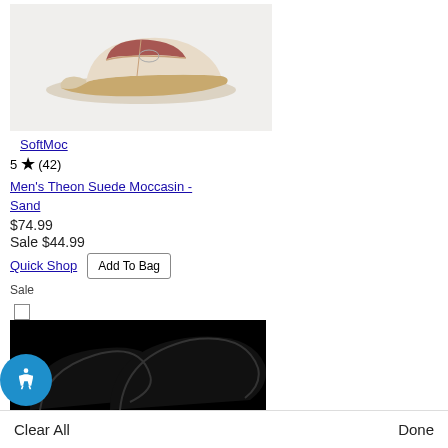[Figure (photo): Beige/sand colored suede moccasin shoe on light gray background]
SoftMoc
5 ★ (42)
Men's Theon Suede Moccasin - Sand
$74.99
Sale $44.99
Quick Shop  Add To Bag
Sale
[Figure (photo): Partially visible black shoe/product image at bottom]
Clear All
Done